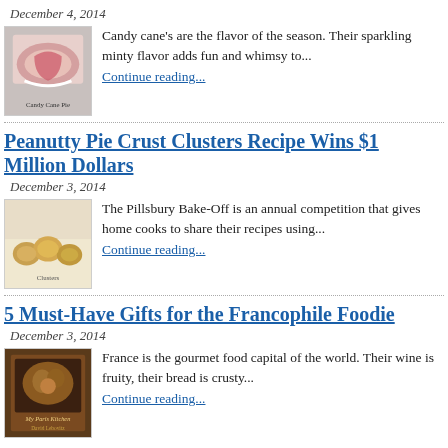December 4, 2014
[Figure (photo): Photo of a candy cane pie with red and white colors]
Candy cane's are the flavor of the season. Their sparkling minty flavor adds fun and whimsy to... Continue reading...
Peanutty Pie Crust Clusters Recipe Wins $1 Million Dollars
December 3, 2014
[Figure (photo): Photo of peanutty pie crust clusters on a baking sheet]
The Pillsbury Bake-Off is an annual competition that gives home cooks to share their recipes using... Continue reading...
5 Must-Have Gifts for the Francophile Foodie
December 3, 2014
[Figure (photo): Book cover: My Paris Kitchen by David Lebovitz]
France is the gourmet food capital of the world.  Their wine is fruity, their bread is crusty... Continue reading...